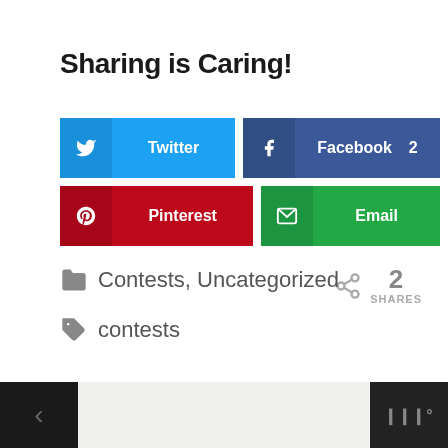Sharing is Caring!
[Figure (infographic): Social share buttons: Twitter, Facebook (2 shares), Pinterest, Email. Share counter showing 2 SHARES.]
Contests, Uncategorized
contests
[Figure (other): Footer bar with dark sidebar, dotted pattern center, and website logo area on right]